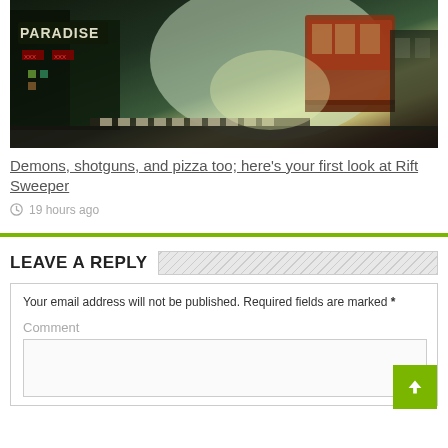[Figure (photo): Cyberpunk city street scene at night with neon signs including 'PARADISE', foggy atmosphere, tram/trolley visible on the right side, crosswalk in foreground]
Demons, shotguns, and pizza too; here’s your first look at Rift Sweeper
19 hours ago
LEAVE A REPLY
Your email address will not be published. Required fields are marked *
Comment